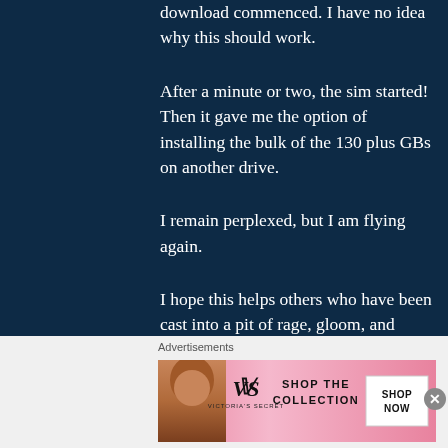download commenced. I have no idea why this should work.
After a minute or two, the sim started! Then it gave me the option of installing the bulk of the 130 plus GBs on another drive.
I remain perplexed, but I am flying again.
I hope this helps others who have been cast into a pit of rage, gloom, and despair by the sloppy
Advertisements
[Figure (photo): Victoria's Secret advertisement banner with model, logo, 'SHOP THE COLLECTION' text and 'SHOP NOW' button]